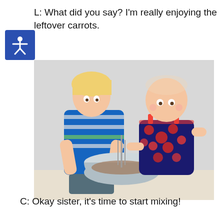L: What did you say? I’m really enjoying the leftover carrots.
[Figure (photo): Two young children — an older boy in a blue striped polo shirt and a baby girl in a red floral sundress — standing together mixing ingredients in a large silver mixing bowl on a counter.]
C: Okay sister, it’s time to start mixing!